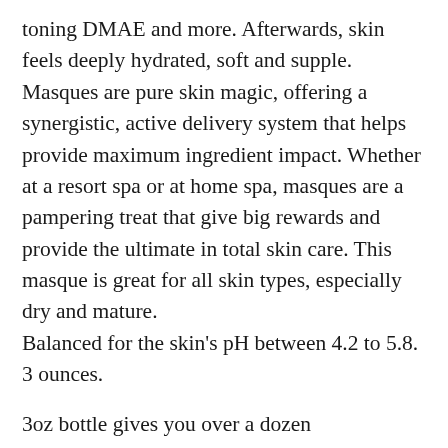toning DMAE and more. Afterwards, skin feels deeply hydrated, soft and supple. Masques are pure skin magic, offering a synergistic, active delivery system that helps provide maximum ingredient impact. Whether at a resort spa or at home spa, masques are a pampering treat that give big rewards and provide the ultimate in total skin care. This masque is great for all skin types, especially dry and mature.
Balanced for the skin's pH between 4.2 to 5.8. 3 ounces.
3oz bottle gives you over a dozen applications!
Directions for usage: Apply a thin layer to cleansed skin, avoiding eye area. Rinse off after five to 20 minutes. Tone and moisturize as usual.